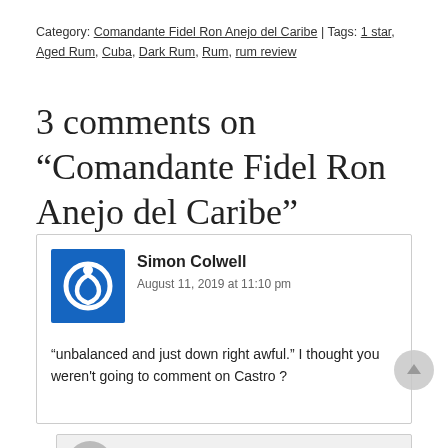Category: Comandante Fidel Ron Anejo del Caribe | Tags: 1 star, Aged Rum, Cuba, Dark Rum, Rum, rum review
3 comments on “Comandante Fidel Ron Anejo del Caribe”
Simon Colwell
August 11, 2019 at 11:10 pm
“unbalanced and just down right awful.” I thought you weren’t going to comment on Castro ?
thefatrumpirate